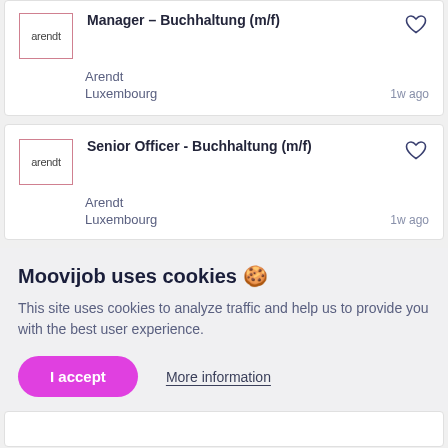Manager – Buchhaltung (m/f)
Arendt
Luxembourg
1w ago
Senior Officer - Buchhaltung (m/f)
Arendt
Luxembourg
1w ago
Moovijob uses cookies 🍪
This site uses cookies to analyze traffic and help us to provide you with the best user experience.
I accept
More information